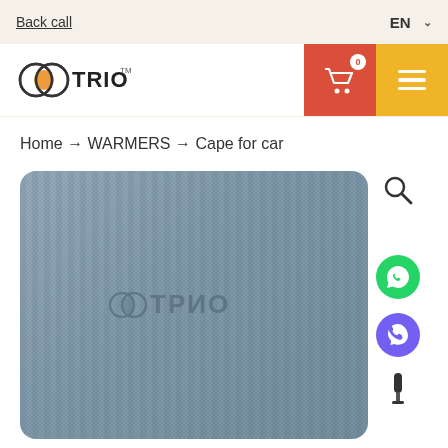Back call | EN
[Figure (logo): TRIO brand logo with three overlapping circles (orange/brown/black) and TRIO text]
Home → WARMERS → Cape for car
[Figure (photo): Gray textile cape/blanket for car with ТРИО (TRIO) logo embossed in center, shown flat on white background]